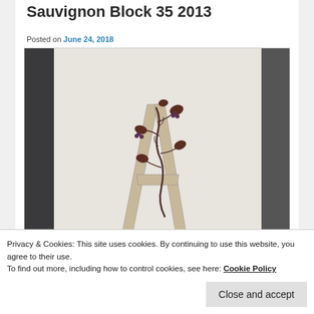Sauvignon Block 35 2013
Posted on June 24, 2018
[Figure (photo): Wine bottle label showing a large decorative letter 'A' with grapevine and leaf motifs on a white textured background. Text at bottom reads HORSE HEAVEN HILLS.]
Privacy & Cookies: This site uses cookies. By continuing to use this website, you agree to their use.
To find out more, including how to control cookies, see here: Cookie Policy
Close and accept